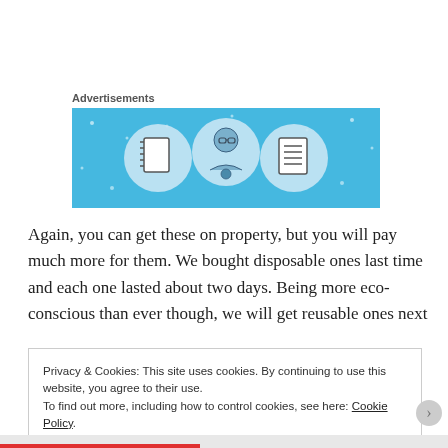Advertisements
[Figure (illustration): Advertisement banner with light blue background showing three circular icons: a notebook, a person with glasses, and a lined document/list.]
Again, you can get these on property, but you will pay much more for them. We bought disposable ones last time and each one lasted about two days. Being more eco-conscious than ever though, we will get reusable ones next
Privacy & Cookies: This site uses cookies. By continuing to use this website, you agree to their use.
To find out more, including how to control cookies, see here: Cookie Policy
Close and accept